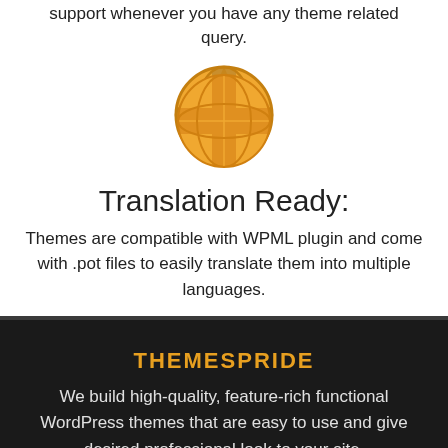support whenever you have any theme related query.
[Figure (illustration): Orange globe/world icon]
Translation Ready:
Themes are compatible with WPML plugin and come with .pot files to easily translate them into multiple languages.
THEMESPRIDE
We build high-quality, feature-rich functional WordPress themes that are easy to use and give desired professional look to your site.
Premium WordPress Theme